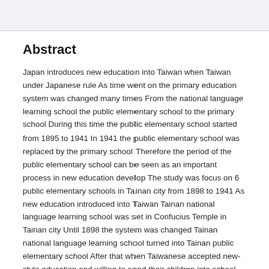Abstract
Japan introduces new education into Taiwan when Taiwan under Japanese rule As time went on the primary education system was changed many times From the national language learning school the public elementary school to the primary school During this time the public elementary school started from 1895 to 1941 In 1941 the public elementary school was replaced by the primary school Therefore the period of the public elementary school can be seen as an important process in new education develop The study was focus on 6 public elementary schools in Tainan city from 1898 to 1941 As new education introduced into Taiwan Tainan national language learning school was set in Confucius Temple in Tainan city Until 1898 the system was changed Tainan national language learning school turned into Tainan public elementary school After that when Taiwanese accepted new-style education and willing to send their children into school More and more schools appeared Based on schools development this study not only constructs school's commuter zone at different time but investigate the effect on citizens About constructs school's commuter zone at different time in the study was based on